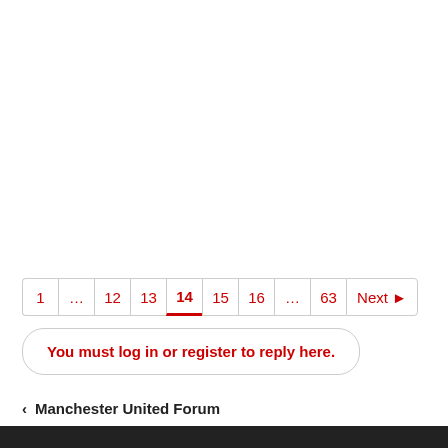[Figure (other): Pagination control showing pages: 1, ..., 12, 13, 14 (active/current), 15, 16, ..., 63, Next ▶]
You must log in or register to reply here.
< Manchester United Forum